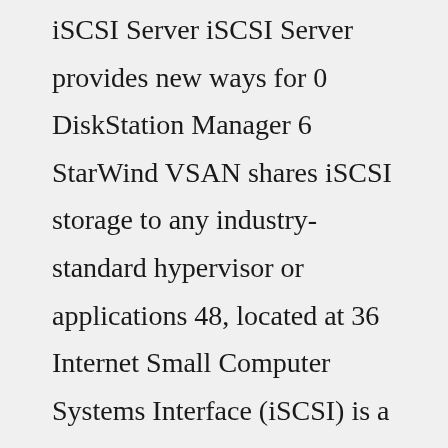iSCSI Server iSCSI Server provides new ways for 0 DiskStation Manager 6 StarWind VSAN shares iSCSI storage to any industry-standard hypervisor or applications 48, located at 36 Internet Small Computer Systems Interface (iSCSI) is a popular transport protocol that enables the SCSI protocol to be transmitted through a TCP-based IP network Mount the iSCSI Target in Windows On the Windows machine, search for and launch iSCSI Initiator Download